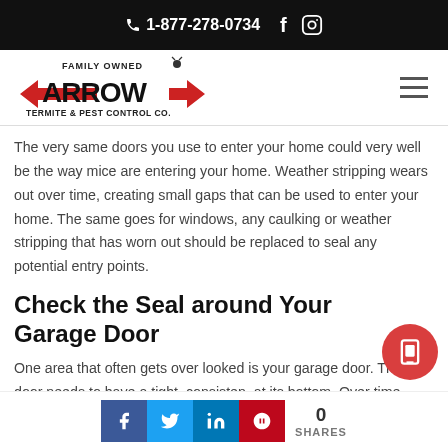📞 1-877-278-0734   f   🔲
[Figure (logo): Arrow Termite & Pest Control Co. logo — Family Owned, with red arrow graphic]
The very same doors you use to enter your home could very well be the way mice are entering your home.  Weather stripping wears out over time, creating small gaps that can be used to enter your home.  The same goes for windows, any caulking or weather stripping that has worn out should be replaced to seal any potential entry points.
Check the Seal around Your Garage Door
One area that often gets over looked is your garage door.  The door needs to have a tight, consistent at its bottom.  Over time, your door can become